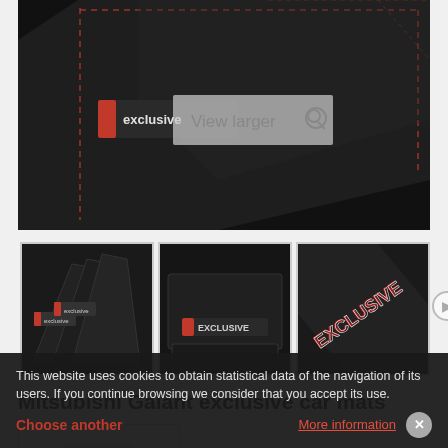[Figure (photo): Close-up of black car mat with red stitching and 'exclusive' branding label, with a semi-transparent 'View larger' overlay button with magnifier icon]
[Figure (photo): Thumbnail 1: Set of black exclusive car mats fanned out]
[Figure (photo): Thumbnail 2: Black exclusive car mats flat view with branding]
[Figure (photo): Thumbnail 3: Close-up corner of black exclusive car mat with red branding text]
Mitsubishi Galant exclusive car mats
[Figure (photo): White Mitsubishi Galant sedan shown from front-left angle]
This website uses cookies to obtain statistical data of the navigation of its users. If you continue browsing we consider that you accept its use.
Choose another   More information   X